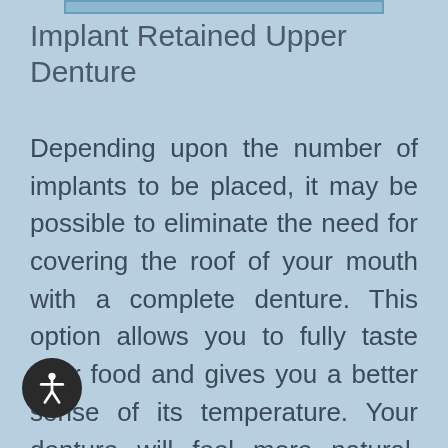Implant Retained Upper Denture
Depending upon the number of implants to be placed, it may be possible to eliminate the need for covering the roof of your mouth with a complete denture. This option allows you to fully taste your food and gives you a better sense of its temperature. Your denture will feel more natural. You will still have a removable denture, which makes cleaning the support bar and